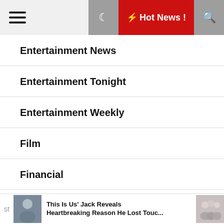☰  🌙  ⚡ Hot News !  🔍
Entertainment News
Entertainment Tonight
Entertainment Weekly
Film
Financial
Foods & Culinary
Gossip
st  This Is Us' Jack Reveals Heartbreaking Reason He Lost Touc...